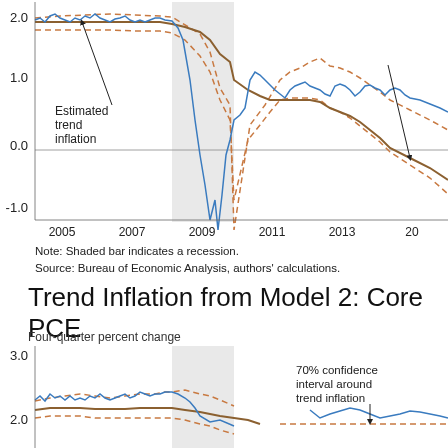[Figure (continuous-plot): Top portion of a line chart showing trend inflation (brown solid line) with 70% confidence interval (dashed brown lines) and actual inflation (blue jagged line). Y-axis from -1.0 to 2.0+, X-axis from 2005 to ~2015. Shaded recession bar around 2008-2009. Arrow label: 'Estimated trend inflation'.]
Note: Shaded bar indicates a recession.
Source: Bureau of Economic Analysis, authors' calculations.
Trend Inflation from Model 2: Core PCE
Four-quarter percent change
[Figure (continuous-plot): Bottom portion of a line chart showing trend inflation (brown solid line) with 70% confidence interval (dashed brown lines) and actual inflation (blue jagged line). Y-axis shows 2.0 and 3.0 visible. Shaded recession bar visible. Legend text: '70% confidence interval around trend inflation'.]